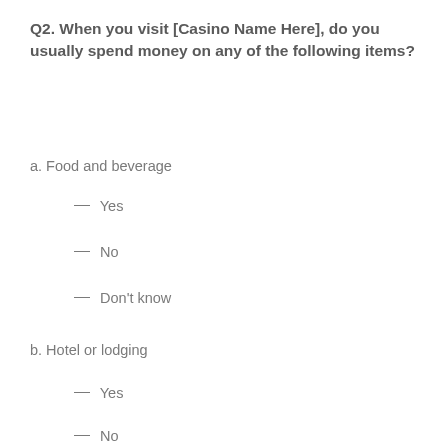Q2. When you visit [Casino Name Here], do you usually spend money on any of the following items?
a. Food and beverage
__ Yes
__ No
__ Don't know
b. Hotel or lodging
__ Yes
__ No